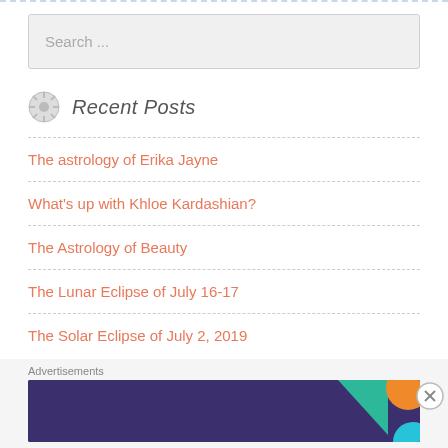Search ...
Recent Posts
The astrology of Erika Jayne
What's up with Khloe Kardashian?
The Astrology of Beauty
The Lunar Eclipse of July 16-17
The Solar Eclipse of July 2, 2019
Advertisements
[Figure (screenshot): WooCommerce advertisement banner: 'Turn your hobby into a business in 8 steps' on dark purple background with teal triangle, orange and teal shapes]